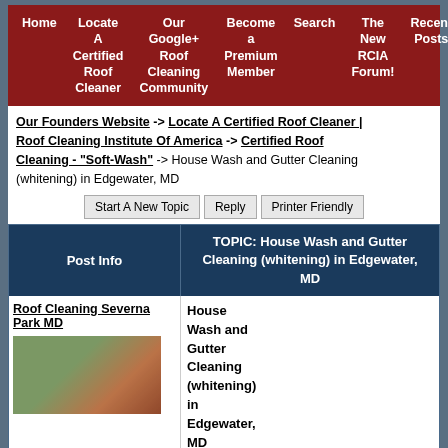Home | Locate A Certified Roof Cleaner | Our Google+ Roof Cleaning Community | Become a Premium Member | Search | The New RCIA Forum! | Recent Posts
Our Founders Website -> Locate A Certified Roof Cleaner | Roof Cleaning Institute Of America -> Certified Roof Cleaning - "Soft-Wash" -> House Wash and Gutter Cleaning (whitening) in Edgewater, MD
Start A New Topic | Reply | Printer Friendly
| Post Info | TOPIC: House Wash and Gutter Cleaning (whitening) in Edgewater, MD |
| --- | --- |
| Roof Cleaning Severna Park MD [photo] | House Wash and Gutter Cleaning (whitening) in Edgewater, MD  Permalink  - More - |